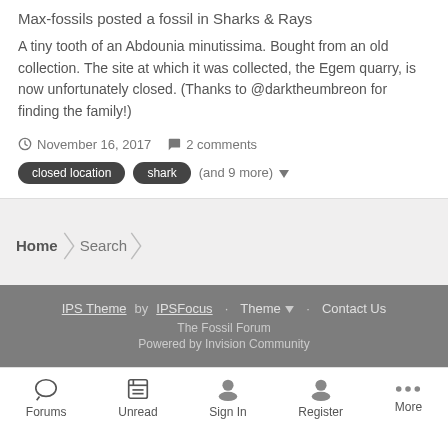Max-fossils posted a fossil in Sharks & Rays
A tiny tooth of an Abdounia minutissima. Bought from an old collection. The site at which it was collected, the Egem quarry, is now unfortunately closed. (Thanks to @darktheumbreon for finding the family!)
November 16, 2017   2 comments
closed location   shark   (and 9 more)
Home  Search
IPS Theme by IPSFocus   Theme   Contact Us
The Fossil Forum
Powered by Invision Community
Forums  Unread  Sign In  Register  More